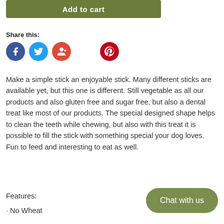Add to cart
Share this:
[Figure (other): Social media sharing icons: Facebook (blue circle with f), Twitter (light blue circle with bird), Google+ (red circle with G+), Pinterest (dark red circle with P)]
Make a simple stick an enjoyable stick. Many different sticks are available yet, but this one is different. Still vegetable as all our products and also gluten free and sugar free, but also a dental treat like most of our products. The special designed shape helps to clean the teeth while chewing, but also with this treat it is possible to fill the stick with something special your dog loves. Fun to feed and interesting to eat as well.
Features:
· No Wheat
Chat with us